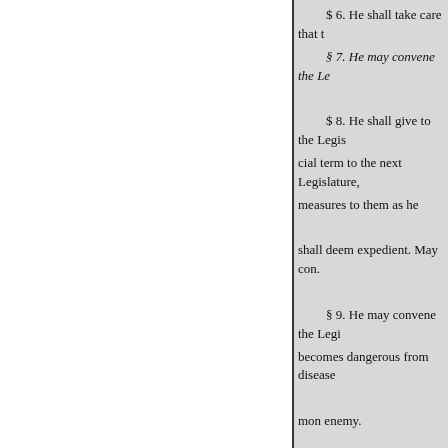$ 6. He shall take care that
§ 7. He may convene the Le

$ 8. He shall give to the Legis
cial term to the next Legislature,
measures to them as he

shall deem expedient. May con.

§ 9. He may convene the Legi
becomes dangerous from disease

mon enemy.

§ 10. He shall issue writs of el
Representatives.

§ 11. He may grant reprieves,

convictions, for all offences exce
restrictions and limitations, as he
manner of applying for pardons.
until the case shall be reported to
pardon, or commute the sentence
communicate to the Legislature a
pardon granted, and the reasons